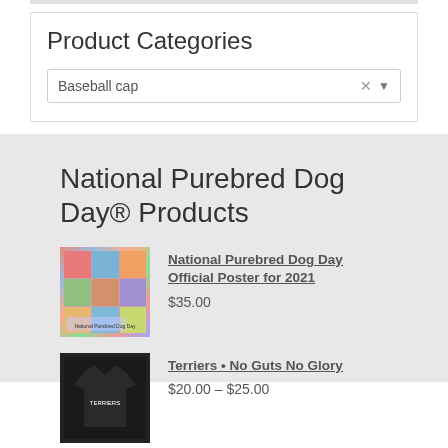Product Categories
Baseball cap
National Purebred Dog Day® Products
National Purebred Dog Day Official Poster for 2021
$35.00
Terriers • No Guts No Glory
$20.00 – $25.00